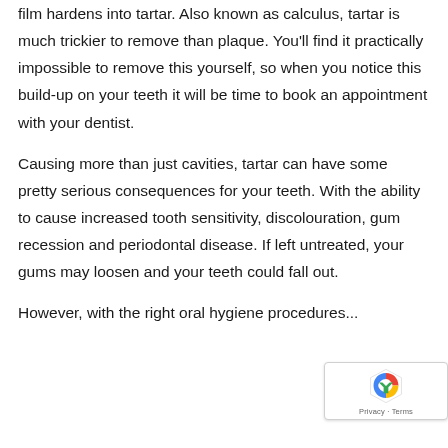film hardens into tartar. Also known as calculus, tartar is much trickier to remove than plaque. You'll find it practically impossible to remove this yourself, so when you notice this build-up on your teeth it will be time to book an appointment with your dentist.
Causing more than just cavities, tartar can have some pretty serious consequences for your teeth. With the ability to cause increased tooth sensitivity, discolouration, gum recession and periodontal disease. If left untreated, your gums may loosen and your teeth could fall out.
However, with the right oral hygiene procedures...